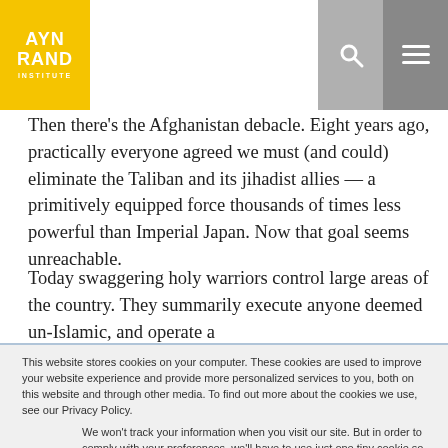AYN RAND INSTITUTE
Then there's the Afghanistan debacle. Eight years ago, practically everyone agreed we must (and could) eliminate the Taliban and its jihadist allies — a primitively equipped force thousands of times less powerful than Imperial Japan. Now that goal seems unreachable. Today swaggering holy warriors control large areas of the country. They summarily execute anyone deemed un-Islamic, and operate a
This website stores cookies on your computer. These cookies are used to improve your website experience and provide more personalized services to you, both on this website and through other media. To find out more about the cookies we use, see our Privacy Policy.
We won't track your information when you visit our site. But in order to comply with your preferences, we'll have to use just one tiny cookie so that you're not asked to make this choice again.